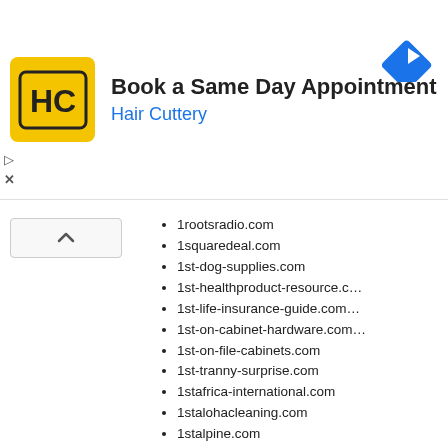[Figure (infographic): Hair Cuttery advertisement banner with yellow logo showing HC initials, text 'Book a Same Day Appointment' and 'Hair Cuttery', blue diamond navigation icon, play and close controls, collapse button]
1rootsradio.com
1squaredeal.com
1st-dog-supplies.com
1st-healthproduct-resource.c...
1st-life-insurance-guide.com...
1st-on-cabinet-hardware.com...
1st-on-file-cabinets.com
1st-tranny-surprise.com
1stafrica-international.com
1stalohacleaning.com
1stalpine.com
1stalpinerealestate.com
1stamericanreversemortgage...
1stamericaone.com
1stbonitarealestate.com
1stbonsall.com
1stbonsallrealestate.com
1stcallleads.com
1stcardiff.com
1stcardiffrealestate.com
1stcarlsbad.com
1stcarlsbadrealestate.com
1stcarmelvalley.com